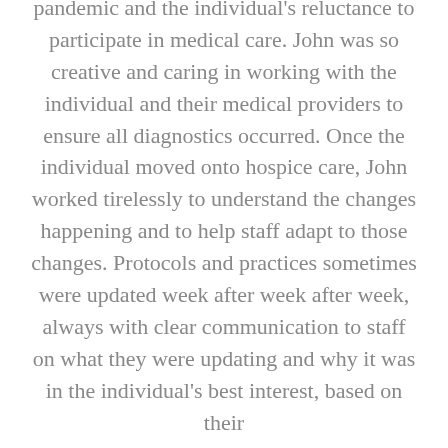pandemic and the individual's reluctance to participate in medical care. John was so creative and caring in working with the individual and their medical providers to ensure all diagnostics occurred. Once the individual moved onto hospice care, John worked tirelessly to understand the changes happening and to help staff adapt to those changes. Protocols and practices sometimes were updated week after week after week, always with clear communication to staff on what they were updating and why it was in the individual's best interest, based on their